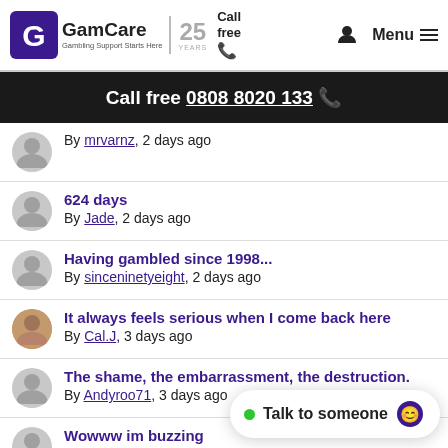GamCare – Gambling Support Starts Here | 25 YEARS | Call free | Menu
Call free 0808 8020 133
By mrvarnz, 2 days ago
624 days – By Jade, 2 days ago
Having gambled since 1998... – By sinceninetyeight, 2 days ago
It always feels serious when I come back here – By Cal.J, 3 days ago
The shame, the embarrassment, the destruction. – By Andyroo71, 3 days ago
Wowww im buzzing